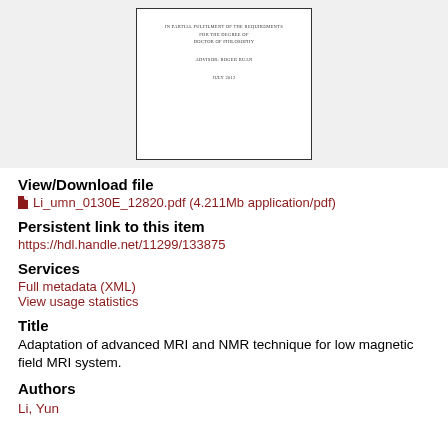[Figure (other): Thumbnail preview of a document page showing title page text: IN PARTIAL FULFILMENT OF THE REQUIREMENTS FOR THE DEGREE OF DOCTOR OF PHILOSOPHY, ADVISOR: ROGER RUAN, JULY 2012]
View/Download file
Li_umn_0130E_12820.pdf (4.211Mb application/pdf)
Persistent link to this item
https://hdl.handle.net/11299/133875
Services
Full metadata (XML)
View usage statistics
Title
Adaptation of advanced MRI and NMR technique for low magnetic field MRI system.
Authors
Li, Yun